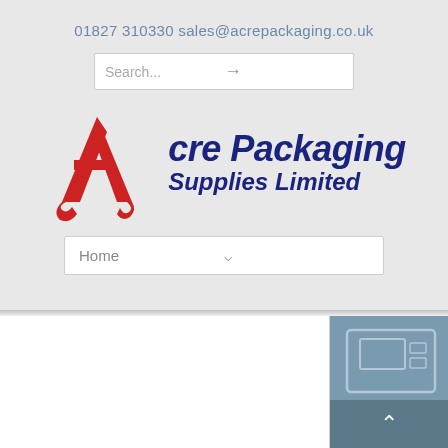01827 310330 sales@acrepackaging.co.uk
[Figure (screenshot): Search bar with placeholder text 'Search...' and arrow button]
[Figure (logo): Acre Packaging Supplies Limited logo with red stylized A and dark blue italic text]
[Figure (screenshot): Navigation dropdown showing 'Home' with chevron]
[Figure (screenshot): Bottom section with white area on left and blue-grey panel on right showing partial machine image and scroll-to-top button]